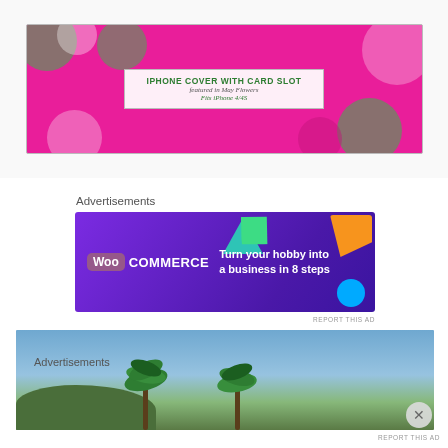[Figure (photo): Product photo of a pink floral iPhone cover with card slot packaging, showing label: 'IPHONE COVER WITH CARD SLOT, featured in May Flowers, Fits iPhone 4/4S']
Advertisements
[Figure (screenshot): WooCommerce advertisement banner: 'Turn your hobby into a business in 8 steps' on purple background with colorful geometric shapes]
REPORT THIS AD
[Figure (photo): Landscape photo showing palm trees and hills against a blue sky]
Advertisements
REPORT THIS AD